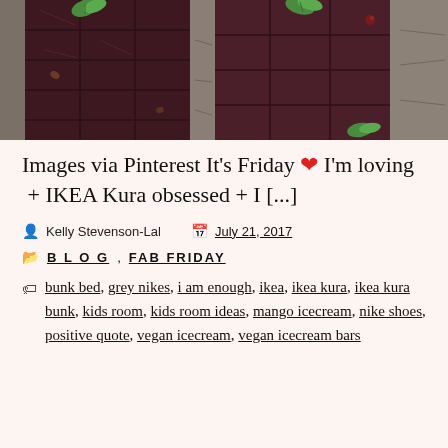[Figure (photo): Close-up photo of dark chocolate bars/slabs with mint leaves and nuts on top, placed on a stone surface]
Images via Pinterest It's Friday ❤ I'm loving + IKEA Kura obsessed + I [...]
Kelly Stevenson-Lal    July 21, 2017
BLOG, FAB FRIDAY
bunk bed, grey nikes, i am enough, ikea, ikea kura, ikea kura bunk, kids room, kids room ideas, mango icecream, nike shoes, positive quote, vegan icecream, vegan icecream bars